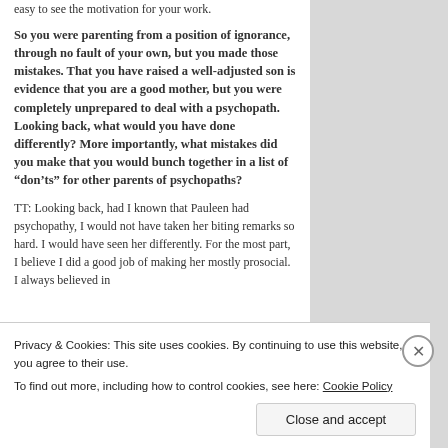easy to see the motivation for your work.
So you were parenting from a position of ignorance, through no fault of your own, but you made those mistakes. That you have raised a well-adjusted son is evidence that you are a good mother, but you were completely unprepared to deal with a psychopath. Looking back, what would you have done differently? More importantly, what mistakes did you make that you would bunch together in a list of “don’ts” for other parents of psychopaths?
TT: Looking back, had I known that Pauleen had psychopathy, I would not have taken her biting remarks so hard. I would have seen her differently. For the most part, I believe I did a good job of making her mostly prosocial. I always believed in
Privacy & Cookies: This site uses cookies. By continuing to use this website, you agree to their use. To find out more, including how to control cookies, see here: Cookie Policy
Close and accept